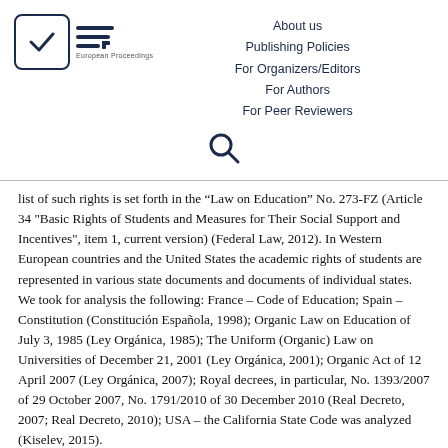[Figure (logo): European Proceedings logo: checkbox with checkmark and EP lines symbol with 'European Proceedings' text below]
About us
Publishing Policies
For Organizers/Editors
For Authors
For Peer Reviewers
[Figure (other): Search icon (magnifying glass)]
list of such rights is set forth in the “Law on Education” No. 273-FZ (Article 34 "Basic Rights of Students and Measures for Their Social Support and Incentives", item 1, current version) (Federal Law, 2012). In Western European countries and the United States the academic rights of students are represented in various state documents and documents of individual states. We took for analysis the following: France – Code of Education; Spain – Constitution (Constitución Española, 1998); Organic Law on Education of July 3, 1985 (Ley Orgánica, 1985); The Uniform (Organic) Law on Universities of December 21, 2001 (Ley Orgánica, 2001); Organic Act of 12 April 2007 (Ley Orgánica, 2007); Royal decrees, in particular, No. 1393/2007 of 29 October 2007, No. 1791/2010 of 30 December 2010 (Real Decreto, 2007; Real Decreto, 2010); USA – the California State Code was analyzed (Kiselev, 2015).
The analysis showed that the main directions of modernization of